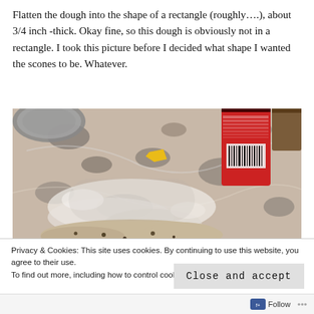Flatten the dough into the shape of a rectangle (roughly….), about 3/4 inch -thick. Okay fine, so this dough is obviously not in a rectangle. I took this picture before I decided what shape I wanted the scones to be. Whatever.
[Figure (photo): A granite kitchen countertop with flour scattered on it, dough in the foreground bottom, a red cylindrical container (spice/baking powder can) in the upper right, and a round metal lid partially visible on the upper left. A small yellow piece (butter or cheese) is visible in the middle.]
Privacy & Cookies: This site uses cookies. By continuing to use this website, you agree to their use.
To find out more, including how to control cookies, see here: Cookie Policy
Close and accept
Follow